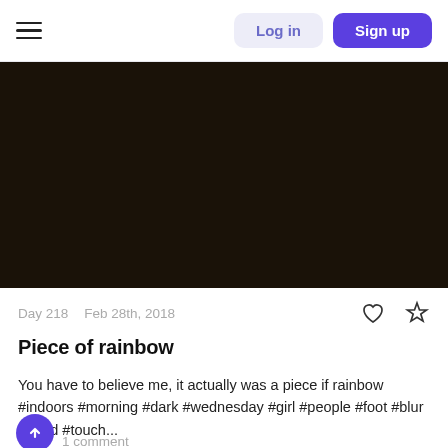Log in  Sign up
[Figure (photo): Dark nearly black photograph area, very low light image]
Day 218  Feb 28th, 2018
Piece of rainbow
You have to believe me, it actually was a piece if rainbow #indoors #morning #dark #wednesday #girl #people #foot #blur #hand #touch...
1 comment